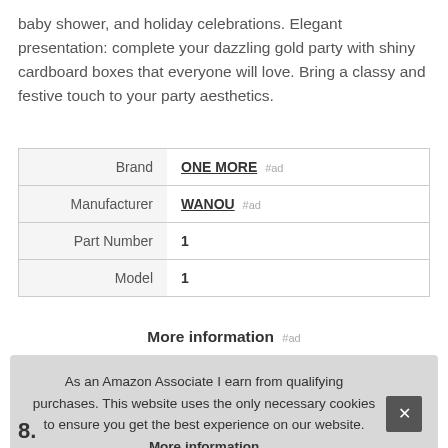baby shower, and holiday celebrations. Elegant presentation: complete your dazzling gold party with shiny cardboard boxes that everyone will love. Bring a classy and festive touch to your party aesthetics.
|  |  |
| --- | --- |
| Brand | ONE MORE #ad |
| Manufacturer | WANOU #ad |
| Part Number | 1 |
| Model | 1 |
More information #ad
As an Amazon Associate I earn from qualifying purchases. This website uses the only necessary cookies to ensure you get the best experience on our website. More information
8.